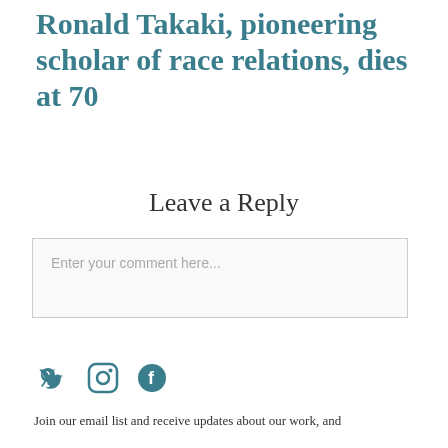Ronald Takaki, pioneering scholar of race relations, dies at 70
Leave a Reply
Enter your comment here...
[Figure (illustration): Social media icons: Twitter bird, Instagram camera, Facebook logo in teal color]
Join our email list and receive updates about our work, and